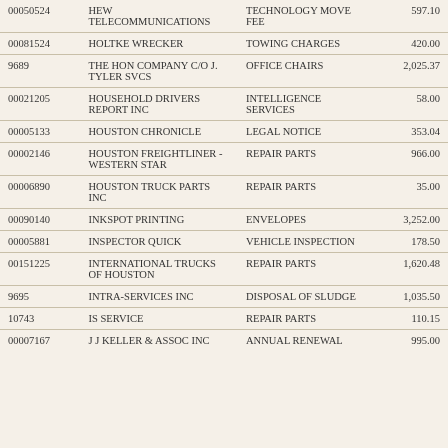| 00050524 | HEW TELECOMMUNICATIONS | TECHNOLOGY MOVE FEE | 597.10 |
| 00081524 | HOLTKE WRECKER | TOWING CHARGES | 420.00 |
| 9689 | THE HON COMPANY C/O J. TYLER SVCS | OFFICE CHAIRS | 2,025.37 |
| 00021205 | HOUSEHOLD DRIVERS REPORT INC | INTELLIGENCE SERVICES | 58.00 |
| 00005133 | HOUSTON CHRONICLE | LEGAL NOTICE | 353.04 |
| 00002146 | HOUSTON FREIGHTLINER - WESTERN STAR | REPAIR PARTS | 966.00 |
| 00006890 | HOUSTON TRUCK PARTS INC | REPAIR PARTS | 35.00 |
| 00090140 | INKSPOT PRINTING | ENVELOPES | 3,252.00 |
| 00005881 | INSPECTOR QUICK | VEHICLE INSPECTION | 178.50 |
| 00151225 | INTERNATIONAL TRUCKS OF HOUSTON | REPAIR PARTS | 1,620.48 |
| 9695 | INTRA-SERVICES INC | DISPOSAL OF SLUDGE | 1,035.50 |
| 10743 | IS SERVICE | REPAIR PARTS | 110.15 |
| 00007167 | J J KELLER & ASSOC INC | ANNUAL RENEWAL | 995.00 |